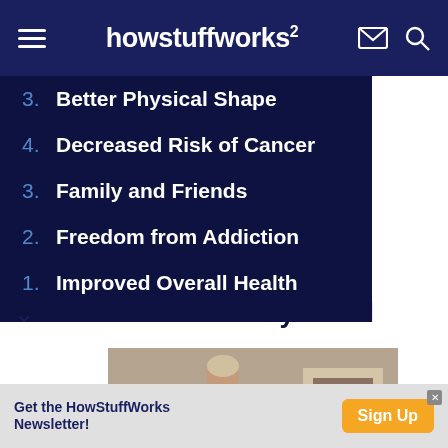howstuffworks²
3. Better Physical Shape
4. Decreased Risk of Cancer
3. Family and Friends
2. Freedom from Addiction
1. Improved Overall Health
10: No More Smoky Smell
[Figure (photo): An older woman smoking a cigarette while sitting in a chair indoors, with a fireplace visible in the background.]
Get the HowStuffWorks Newsletter!
Sign Up